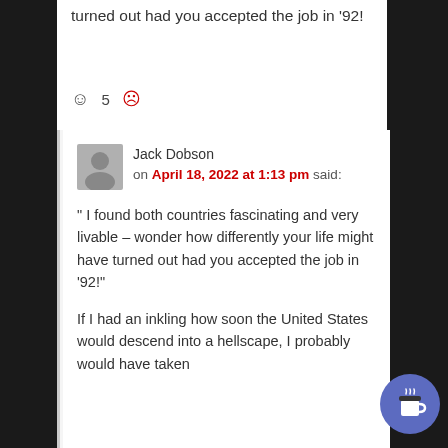turned out had you accepted the job in '92!
☺ 5 ☹
Jack Dobson on April 18, 2022 at 1:13 pm said:
" I found both countries fascinating and very livable – wonder how differently your life might have turned out had you accepted the job in '92!"
If I had an inkling how soon the United States would descend into a hellscape, I probably would have taken